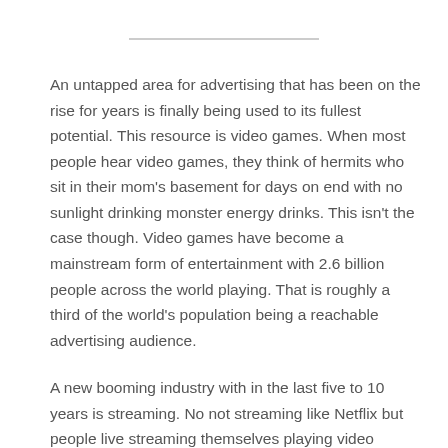An untapped area for advertising that has been on the rise for years is finally being used to its fullest potential. This resource is video games. When most people hear video games, they think of hermits who sit in their mom's basement for days on end with no sunlight drinking monster energy drinks. This isn't the case though. Video games have become a mainstream form of entertainment with 2.6 billion people across the world playing. That is roughly a third of the world's population being a reachable advertising audience.
A new booming industry with in the last five to 10 years is streaming. No not streaming like Netflix but people live streaming themselves playing video games for others to watch. This new industry has created some of the newest and biggest influencers